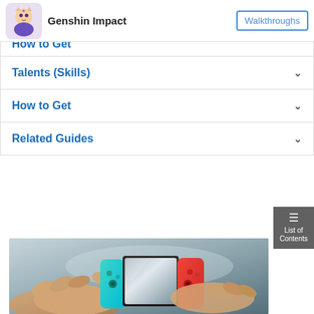Genshin Impact — Walkthroughs
How to Get
Talents (Skills)
How to Get
Related Guides
[Figure (photo): A person holding a Nintendo Switch gaming console with teal/green and red Joy-Con controllers, viewed from above at an angle. The screen is visible and reflects light. The background is a blurred gray surface.]